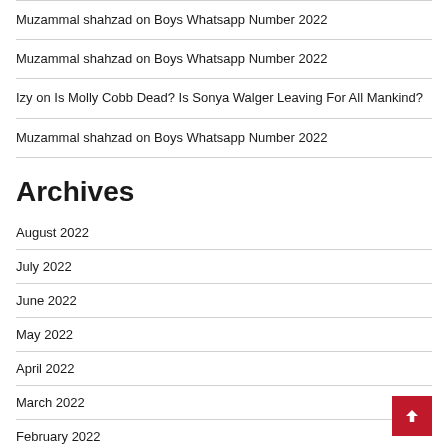Muzammal shahzad on Boys Whatsapp Number 2022
Muzammal shahzad on Boys Whatsapp Number 2022
Izy on Is Molly Cobb Dead? Is Sonya Walger Leaving For All Mankind?
Muzammal shahzad on Boys Whatsapp Number 2022
Archives
August 2022
July 2022
June 2022
May 2022
April 2022
March 2022
February 2022
January 2022